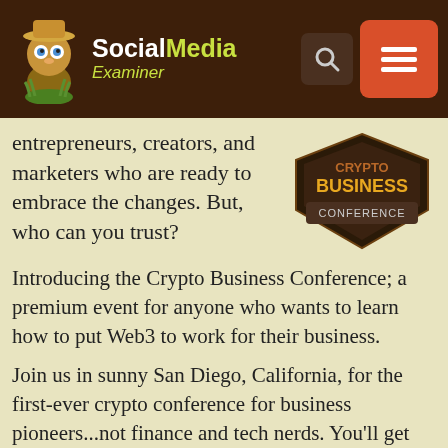Social Media Examiner
entrepreneurs, creators, and marketers who are ready to embrace the changes. But, who can you trust?
[Figure (logo): Crypto Business Conference badge/logo in dark colors with stylized text]
Introducing the Crypto Business Conference; a premium event for anyone who wants to learn how to put Web3 to work for their business.
Join us in sunny San Diego, California, for the first-ever crypto conference for business pioneers...not finance and tech nerds. You'll get actionable, business-building ideas from proven innovators—without all the techie